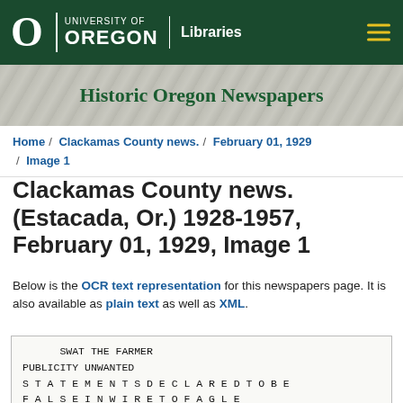University of Oregon Libraries
[Figure (illustration): Historic Oregon Newspapers banner with faded map background]
Home / Clackamas County news. / February 01, 1929 / Image 1
Clackamas County news. (Estacada, Or.) 1928-1957, February 01, 1929, Image 1
Below is the OCR text representation for this newspapers page. It is also available as plain text as well as XML.
SWAT THE FARMER
PUBLICITY UNWANTED
S T A T E M E N T S D E C L A R E D T O B E
F A L S E I N W I R E T O F A G L E